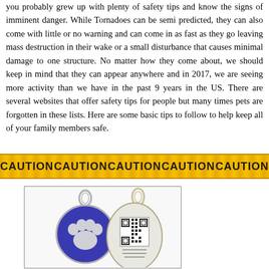you probably grew up with plenty of safety tips and know the signs of imminent danger. While Tornadoes can be semi predicted, they can also come with little or no warning and can come in as fast as they go leaving mass destruction in their wake or a small disturbance that causes minimal damage to one structure. No matter how they come about, we should keep in mind that they can appear anywhere and in 2017, we are seeing more activity than we have in the past 9 years in the US. There are several websites that offer safety tips for people but many times pets are forgotten in these lists. Here are some basic tips to follow to help keep all of your family members safe.
[Figure (photo): Caution tape banner with repeated CAUTION text in black bold on yellow/gold background]
[Figure (photo): Two pet ID tags: a round blue enamel tag with a silver paw print on the left, and an oval silver tag with a QR code on the right, both with metal rings at the top]